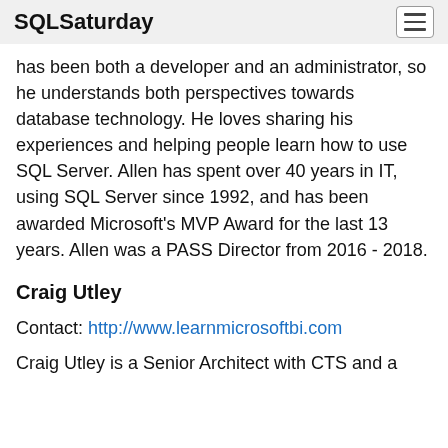SQLSaturday
has been both a developer and an administrator, so he understands both perspectives towards database technology. He loves sharing his experiences and helping people learn how to use SQL Server. Allen has spent over 40 years in IT, using SQL Server since 1992, and has been awarded Microsoft's MVP Award for the last 13 years. Allen was a PASS Director from 2016 - 2018.
Craig Utley
Contact: http://www.learnmicrosoftbi.com
Craig Utley is a Senior Architect with CTS and a